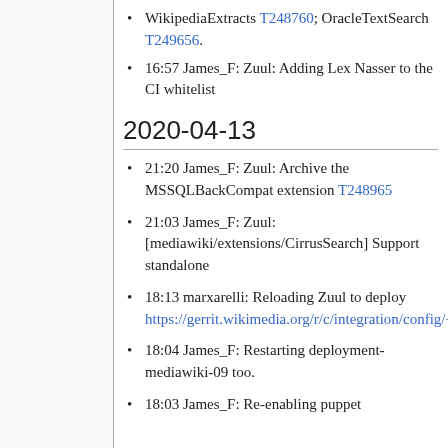WikipediaExtracts T248760; OracleTextSearch T249656.
16:57 James_F: Zuul: Adding Lex Nasser to the CI whitelist
2020-04-13
21:20 James_F: Zuul: Archive the MSSQLBackCompat extension T248965
21:03 James_F: Zuul: [mediawiki/extensions/CirrusSearch] Support standalone
18:13 marxarelli: Reloading Zuul to deploy https://gerrit.wikimedia.org/r/c/integration/config/+/588444
18:04 James_F: Restarting deployment-mediawiki-09 too.
18:03 James_F: Re-enabling puppet